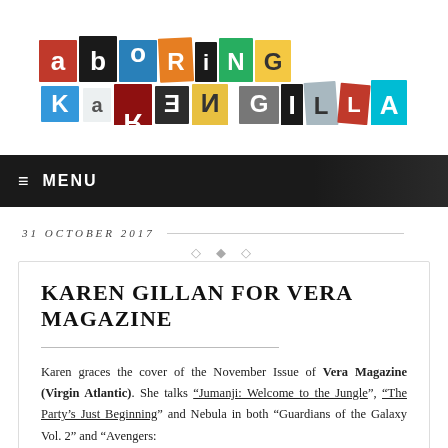[Figure (logo): Colorful ransom-note style logo spelling 'ADORING KAREN GILLAN' with letters on multicolored cut-out squares]
≡  MENU
31 OCTOBER 2017
KAREN GILLAN FOR VERA MAGAZINE
Karen graces the cover of the November Issue of Vera Magazine (Virgin Atlantic). She talks "Jumanji: Welcome to the Jungle", "The Party's Just Beginning" and Nebula in both "Guardians of the Galaxy Vol. 2" and "Avengers: